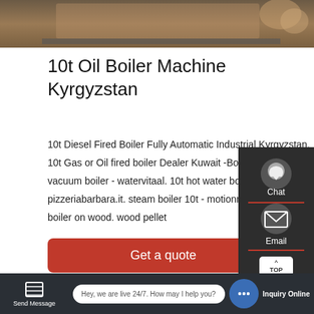[Figure (photo): Top portion of an industrial boiler machine, brownish metal tones]
10t Oil Boiler Machine Kyrgyzstan
10t Diesel Fired Boiler Fully Automatic Industrial Kyrgyzstan. 10t Gas or Oil fired boiler Dealer Kuwait -Boiler machine 10t vacuum boiler - watervitaal. 10t hot water boiler - pizzeriabarbara.it. steam boiler 10t - motionmakers.co.in. 1t boiler on wood. wood pellet
Get a quote
[Figure (screenshot): Sidebar with Chat, Email, TOP, Contact icons on dark background]
[Figure (photo): Bottom industrial building interior image]
Send Message
Hey, we are live 24/7. How may I help you?
Inquiry Online